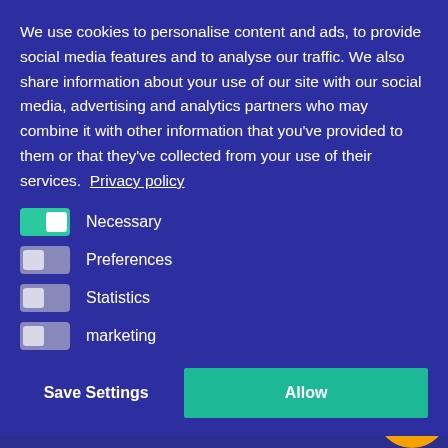[Figure (screenshot): Cookie consent overlay modal on a dark blue website. The overlay shows a cookie policy text, toggle switches for Necessary, Preferences, Statistics, and marketing cookies, and two buttons: Save Settings and Allow.]
We use cookies to personalise content and ads, to provide social media features and to analyse our traffic. We also share information about your use of our site with our social media, advertising and analytics partners who may combine it with other information that you've provided to them or that they've collected from your use of their services.  Privacy policy
Necessary
Preferences
Statistics
marketing
Save Settings
Allow